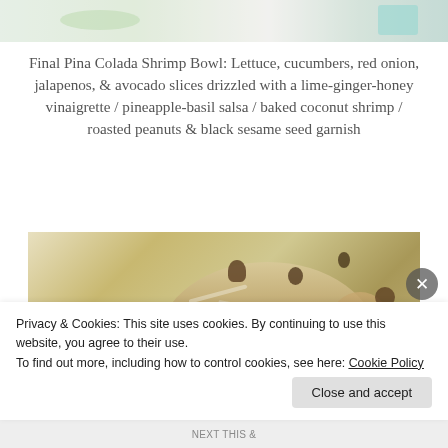[Figure (photo): Top portion of a food photo showing a plated dish with green herbs/lettuce visible, partially cropped]
Final Pina Colada Shrimp Bowl: Lettuce, cucumbers, red onion, jalapenos, & avocado slices drizzled with a lime-ginger-honey vinaigrette / pineapple-basil salsa / baked coconut shrimp / roasted peanuts & black sesame seed garnish
[Figure (photo): Photo of a baked coconut shrimp bowl with yellow pineapple chunks, shredded coconut coating on shrimp, on a white plate]
Privacy & Cookies: This site uses cookies. By continuing to use this website, you agree to their use.
To find out more, including how to control cookies, see here: Cookie Policy
Close and accept